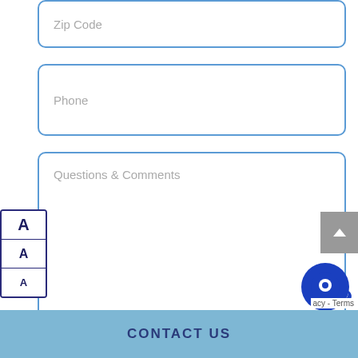[Figure (screenshot): Web form input field with placeholder text 'Zip Code', rounded rectangle with blue border]
[Figure (screenshot): Web form input field with placeholder text 'Phone', rounded rectangle with blue border]
[Figure (screenshot): Web form textarea with placeholder text 'Questions & Comments', rounded rectangle with blue border]
[Figure (other): Grey scroll-to-top button with upward chevron arrow]
[Figure (other): Accessibility font-size buttons showing three A letters of different sizes in a bordered box]
[Figure (other): Blue circular chat widget button with speech bubble icon]
acy - Terms
CONTACT US